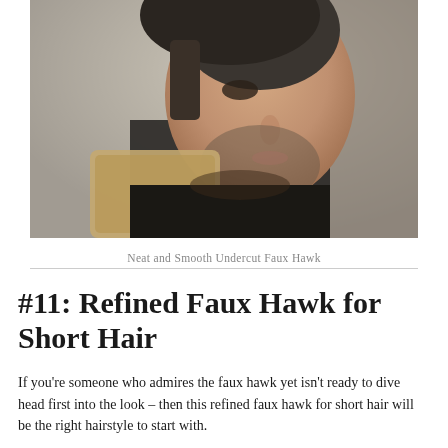[Figure (photo): Close-up profile photo of a young man with a clean undercut faux hawk hairstyle, short dark stubble beard, looking downward, wearing a dark shirt, with a beige/tan object near his face]
Neat and Smooth Undercut Faux Hawk
#11: Refined Faux Hawk for Short Hair
If you're someone who admires the faux hawk yet isn't ready to dive head first into the look – then this refined faux hawk for short hair will be the right hairstyle to start with.